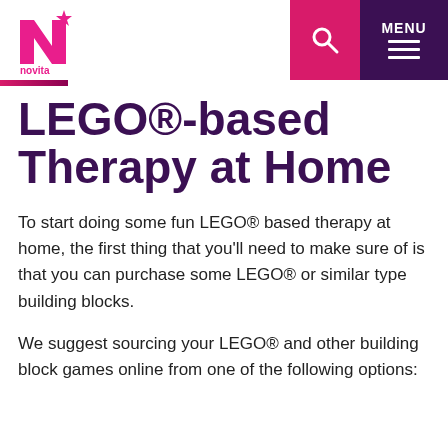[Figure (logo): Novita logo: pink N with star, text 'novita' below]
LEGO®-based Therapy at Home
To start doing some fun LEGO® based therapy at home, the first thing that you'll need to make sure of is that you can purchase some LEGO® or similar type building blocks.
We suggest sourcing your LEGO® and other building block games online from one of the following options: